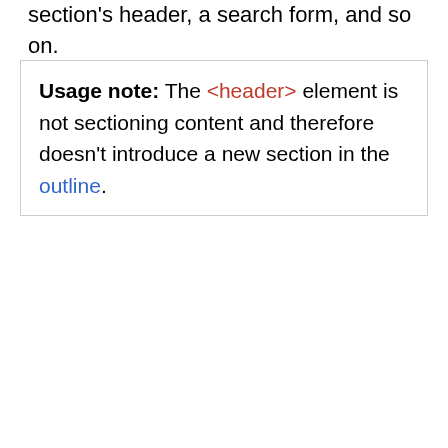section's header, a search form, and so on.
Usage note: The <header> element is not sectioning content and therefore doesn't introduce a new section in the outline.
|  |  |
| --- | --- |
| Content categories | Flow content, palpable content. |
| Permitted content | Flow content, but with no <header> or <footer> descendant |
| Tag omission | None, both the starting and ending tag are |